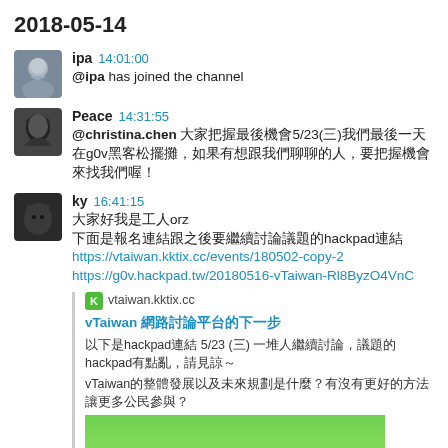2018-05-14
ipa 14:01:00
@ipa has joined the channel
Peace 14:31:55
@christina.chen 大家把握最後機會5/23(三)我們最後一天在g0v黑客松擺攤，如果有想跟我們聊聊的人，要把握機會來找我們喔！
ky 16:41:15
大家好我是工人orz
下面是報名連結跟之後要繼續討論議題的hackpad連結
https://vtaiwan.kktix.cc/events/180502-copy-2
https://g0v.hackpad.tw/20180516-vTaiwan-Rl8ByzO4VnC
vtaiwan.kktix.cc
vTaiwan 網路討論平台的下一步
以下是hackpad連結 5/23 (三) 一堆人繼續討論，議題的hackpad有點亂，請見諒～
vTaiwan的整體發展以及未來規劃是什麼？有沒有更好的方法讓更多公民參與？